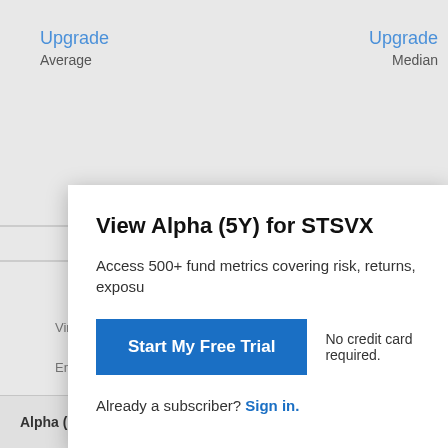Upgrade
Average
Upgrade
Median
Virtus Ceredex SmallCap Value Eq I
Empower S&P SmallCap 600® Index Instl
View Alpha (5Y) for STSVX
Access 500+ fund metrics covering risk, returns, exposu
Start My Free Trial
No credit card required.
Already a subscriber? Sign in.
Alpha (5Y) Related Metrics